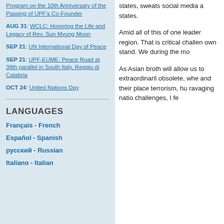Program on the 10th Anniversary of the Passing of UPF's Co-Founder
AUG 31: WCLC: Honoring the Life and Legacy of Rev. Sun Myung Moon
SEP 21: UN International Day of Peace
SEP 21: UPF-EUME: Peace Road at 38th parallel in South Italy, Reggio di Calabria
OCT 24: United Nations Day
LANGUAGES
Français - French
Español - Spanish
русский - Russian
Italiano - Italian
states, sweats social media a states.
Amid all of this of one leader region. That is critical challen own stand. We during the mo
As Asian broth will allow us to extraordinaril obsolete, whe and their place terrorism, hu ravaging natio challenges, I fe